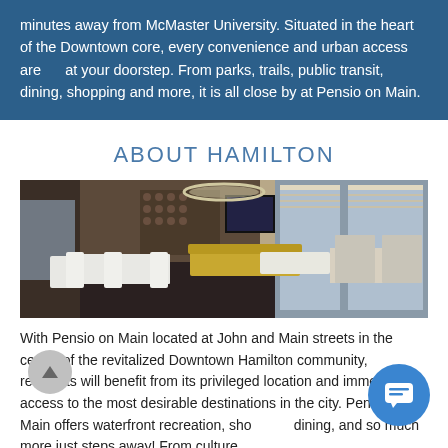minutes away from McMaster University. Situated in the heart of the Downtown core, every convenience and urban access are at your doorstep. From parks, trails, public transit, dining, shopping and more, it is all close by at Pensio on Main.
ABOUT HAMILTON
[Figure (photo): Interior rendering of a modern condominium amenity room with dining table, white chairs, lounge seating, yellow accents, wine rack, and large windows overlooking a cityscape.]
With Pensio on Main located at John and Main streets in the centre of the revitalized Downtown Hamilton community, residents will benefit from its privileged location and immediate access to the most desirable destinations in the city. Pensio on Main offers waterfront recreation, shopping, dining, and so much more just steps away! From culture,